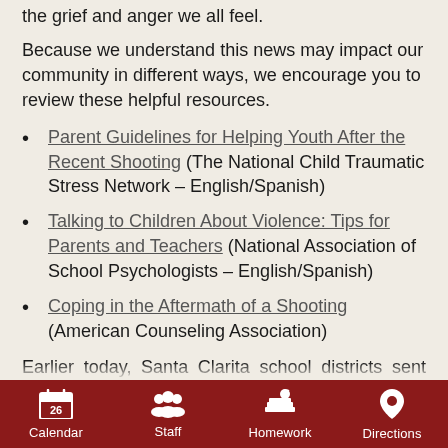the grief and anger we all feel.
Because we understand this news may impact our community in different ways, we encourage you to review these helpful resources.
Parent Guidelines for Helping Youth After the Recent Shooting (The National Child Traumatic Stress Network – English/Spanish)
Talking to Children About Violence: Tips for Parents and Teachers (National Association of School Psychologists – English/Spanish)
Coping in the Aftermath of a Shooting (American Counseling Association)
Earlier today, Santa Clarita school districts sent out a joint communique prepared by the Sheriff's Department providing a snapshot of some expanded security. This morning, all five Valley Superintendents convened a meeting with Captain Justin Diez to discuss how we can work together to keep our schools safe.  The Sheriff's Department committed to increase the presence of security personnel at schools
Calendar | Staff | Homework | Directions